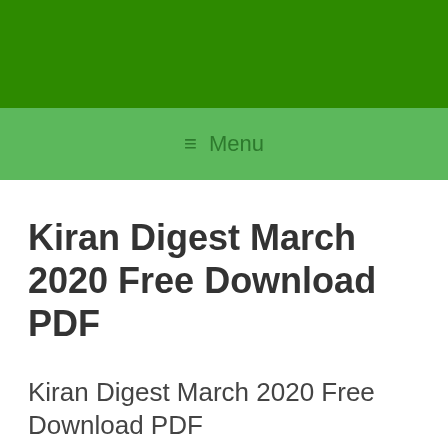[Figure (other): Dark green header banner background]
≡ Menu
Kiran Digest March 2020 Free Download PDF
Kiran Digest March 2020 Free Download PDF